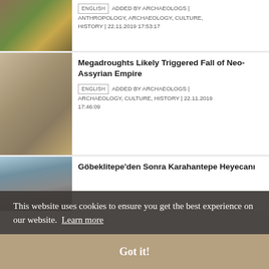[Figure (photo): Aerial landscape with yellow/green fields and water, partial view at top]
ENGLISH  ADDED BY ARCHAEOLOGS | ANTHROPOLOGY, ARCHAEOLOGY, CULTURE, HISTORY | 22.11.2019 17:53:17
[Figure (photo): Ancient Assyrian relief carving showing warrior fighting a lion]
Megadroughts Likely Triggered Fall of Neo-Assyrian Empire
ENGLISH  ADDED BY ARCHAEOLOGS | ARCHAEOLOGY, CULTURE, HISTORY | 22.11.2019 17:46:09
[Figure (photo): Rocky landscape/hillside, partial view, possibly archaeological site]
Göbeklitepe'den Sonra Karahantepe Heyecanı
[Figure (photo): Partially visible image below cookie banner]
Urartu Museum in its new
This website uses cookies to ensure you get the best experience on our website. Learn more
Got it!